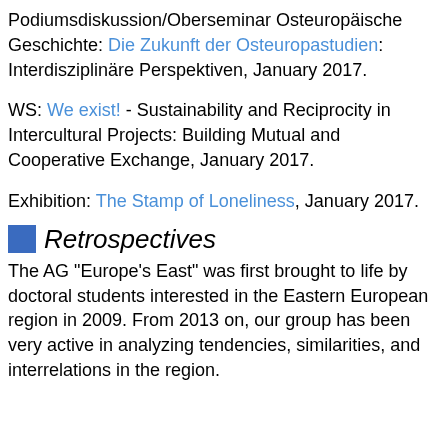Podiumsdiskussion/Oberseminar Osteuropäische Geschichte: Die Zukunft der Osteuropastudien: Interdisziplinäre Perspektiven, January 2017.
WS: We exist! - Sustainability and Reciprocity in Intercultural Projects: Building Mutual and Cooperative Exchange, January 2017.
Exhibition: The Stamp of Loneliness, January 2017.
Retrospectives
The AG "Europe's East" was first brought to life by doctoral students interested in the Eastern European region in 2009. From 2013 on, our group has been very active in analyzing tendencies, similarities, and interrelations in the region.